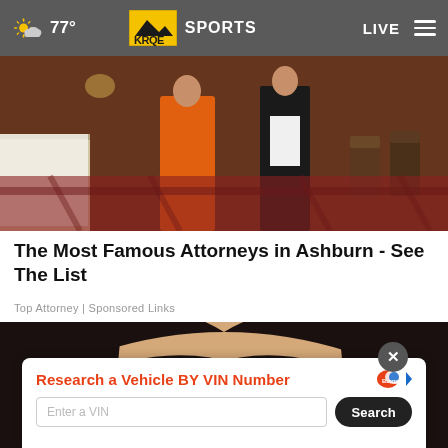77° KRQE SPORTS LIVE
[Figure (photo): Photo of people at an indoor event, orange dress visible, person in black suit, chairs and tables in background]
The Most Famous Attorneys in Ashburn - See The List
Top Attorney | Sponsored Links
[Figure (photo): Close-up photo of a woman with dark hair and dark eyes looking at camera]
[Figure (infographic): Ad overlay: Research a Vehicle BY VIN Number - Bump logo - Enter a VIN input field - Search button]